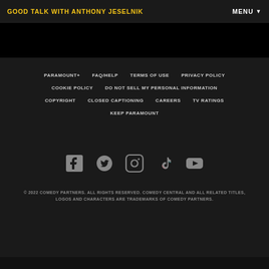GOOD TALK WITH ANTHONY JESELNIK
MENU
PARAMOUNT+
FAQ/HELP
TERMS OF USE
PRIVACY POLICY
COOKIE POLICY
DO NOT SELL MY PERSONAL INFORMATION
COPYRIGHT
CLOSED CAPTIONING
CAREERS
TV RATINGS
KEEP PARAMOUNT
[Figure (other): Social media icons: Facebook, Twitter, Instagram, TikTok, YouTube]
© 2022 COMEDY PARTNERS. ALL RIGHTS RESERVED. COMEDY CENTRAL AND ALL RELATED TITLES, LOGOS AND CHARACTERS ARE TRADEMARKS OF COMEDY PARTNERS.